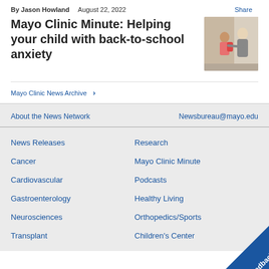By Jason Howland   August 22, 2022   Share
Mayo Clinic Minute: Helping your child with back-to-school anxiety
[Figure (photo): Photo of an adult woman helping a young child with a backpack, medical/school setting]
Mayo Clinic News Archive >
About the News Network
Newsbureau@mayo.edu
News Releases
Research
Cancer
Mayo Clinic Minute
Cardiovascular
Podcasts
Gastroenterology
Healthy Living
Neurosciences
Orthopedics/Sports
Transplant
Children's Center